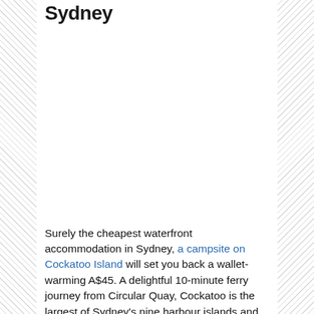Sydney
[Figure (photo): Blank white image placeholder area for a photo of Sydney / Cockatoo Island]
Surely the cheapest waterfront accommodation in Sydney, a campsite on Cockatoo Island will set you back a wallet-warming A$45. A delightful 10-minute ferry journey from Circular Quay, Cockatoo is the largest of Sydney's nine harbour islands and still bears the scars from its previous incarnations as a penal settlement and shipyard. Since being spruced up by the Harbour Trust and opened to the public, it's become a popular day-trip destination and concert venue. For self-caterers, there's a well-equipped camp kitchen; for everyone else, there are three cafes and bars. Not got a tent? Try the